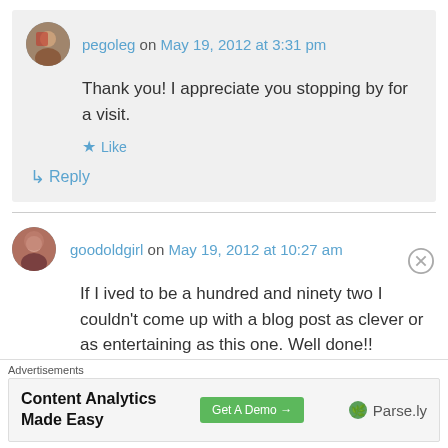pegoleg on May 19, 2012 at 3:31 pm
Thank you! I appreciate you stopping by for a visit.
★ Like
↳ Reply
goodoldgirl on May 19, 2012 at 10:27 am
If I ived to be a hundred and ninety two I couldn't come up with a blog post as clever or as entertaining as this one. Well done!!
Advertisements
Content Analytics Made Easy  Get A Demo →  Parse.ly